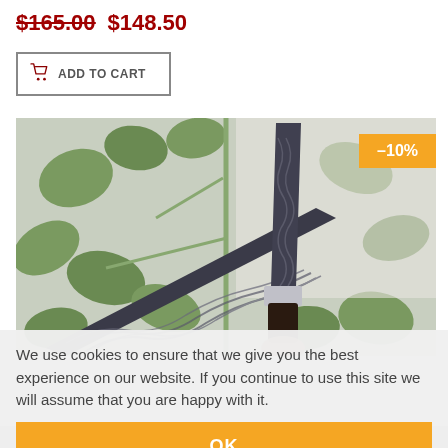$165.00  $148.50
ADD TO CART
[Figure (photo): Damascus steel kitchen knife with wavy pattern blade and dark handle, held by hand against green plant background. Orange badge with -10% discount in top right corner.]
We use cookies to ensure that we give you the best experience on our website. If you continue to use this site we will assume that you are happy with it.
OK